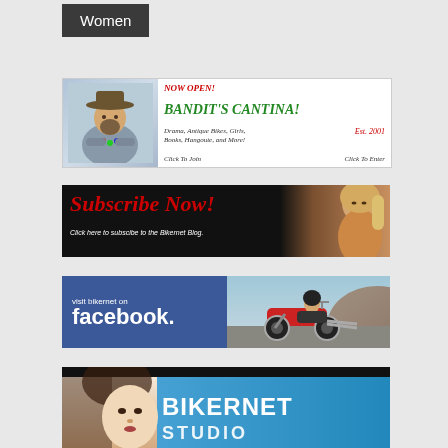Women
[Figure (illustration): Bandit's Cantina banner ad: illustration of a bandito character on the left, text 'NOW OPEN! BANDIT'S CANTINA! Drama, Antique Bikes, Girls, Books, Hangoute, and More! Est. 2001 Click To Join Click To Enter' on white background]
[Figure (illustration): Subscribe Now banner: red italic text 'Subscribe Now!' on black background with woman photo on right, subtext 'Click here to subscibe to the Bikernet Blog.']
[Figure (illustration): Facebook banner: blue left panel with 'visit bikernet on facebook.' text, right panel showing motorcycle rider photo]
[Figure (illustration): Bikernet Studio banner: dark top bar, blue background with woman's face on left and 'BIKERNET STUDIO' text in white bold]